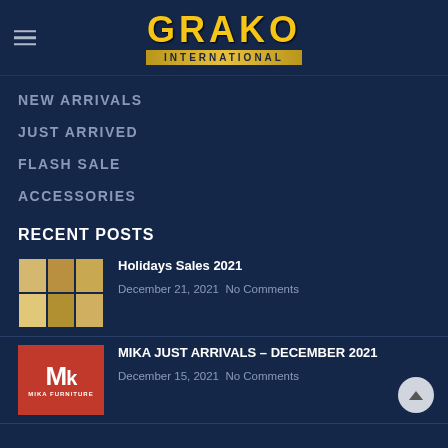[Figure (logo): Grako International logo with hamburger menu icon on the left. GRAKO in large gold letters, INTERNATIONAL on a gold banner below.]
NEW ARRIVALS
JUST ARRIVED
FLASH SALE
ACCESSORIES
RECENT POSTS
[Figure (photo): Thumbnail grid of 6 furniture images showing various chairs and tables in gold/beige tones.]
Holidays Sales 2021
December 21, 2021  No Comments
[Figure (logo): Mika Furniture logo - red background with white MK letters and MIKA FURNITURE text below.]
MIKA JUST ARRIVALS – DECEMBER 2021
December 15, 2021  No Comments